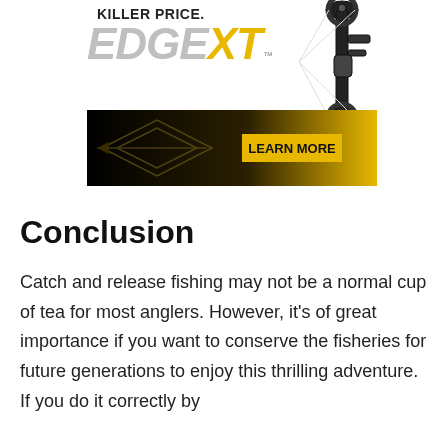[Figure (advertisement): Advertisement for 'Edge XT' bow at a killer price, featuring the product name in large gray/yellow italic text, a photo of a compound bow on the right, a dark gradient banner with arrow graphic and a 'LEARN MORE' button in yellow.]
Conclusion
Catch and release fishing may not be a normal cup of tea for most anglers. However, it's of great importance if you want to conserve the fisheries for future generations to enjoy this thrilling adventure. If you do it correctly by